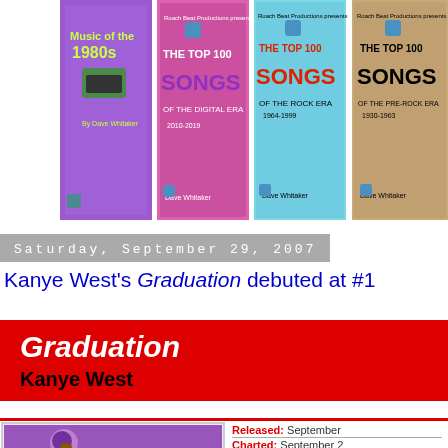[Figure (illustration): Row of four book covers: Music of the 1980s, The Top 100 Songs of the Digital Era, The Top 100 Songs of the Rock Era, The Top 100 Songs (pre-rock era)]
Saturday, September 29, 2007
Kanye West's Graduation debuted at #1
Graduation
Kanye West
[Figure (illustration): Graduation album cover art showing cartoon bear character in purple/pink tones]
Released: September
Charted: September 2